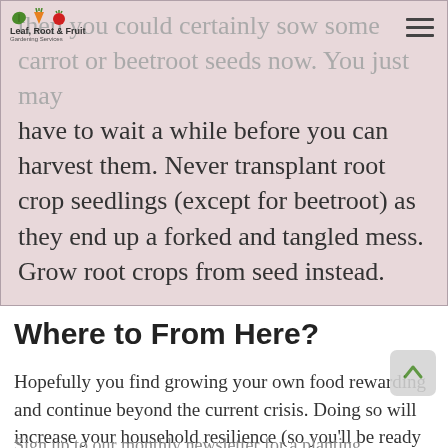Leaf, Root & Fruit Gardening Services
then you could certainly sow some carrot or beetroot seeds now. You just may have to wait a while before you can harvest them. Never transplant root crop seedlings (except for beetroot) as they end up a forked and tangled mess. Grow root crops from seed instead.
Where to From Here?
Hopefully you find growing your own food rewarding and continue beyond the current crisis. Doing so will increase your household resilience (so you'll be ready for the next crisis!).
Sign up to our monthly newsletter for a planting